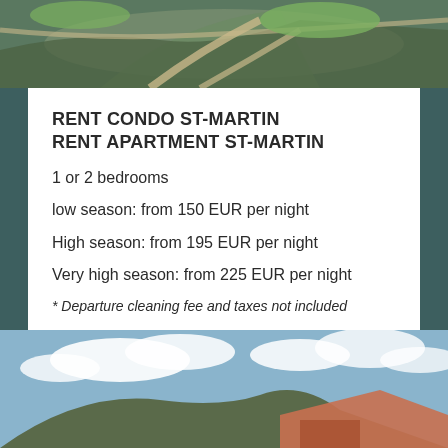[Figure (photo): Aerial view of a property with green landscaping, pathways and parking area]
RENT CONDO ST-MARTIN
RENT APARTMENT ST-MARTIN
1 or 2 bedrooms
low season: from 150 EUR per night
High season: from 195 EUR per night
Very high season: from 225 EUR per night
* Departure cleaning fee and taxes not included
[Figure (photo): Exterior photo of a building with blue sky, clouds, and hillside in the background]